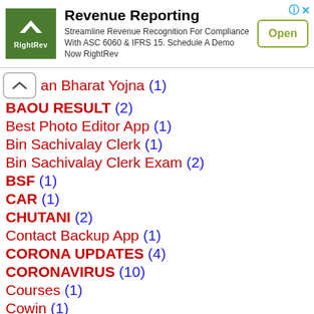[Figure (other): Advertisement banner for RightRev Revenue Reporting with logo, description text, and Open button]
an Bharat Yojna (1)
BAOU RESULT (2)
Best Photo Editor App (1)
Bin Sachivalay Clerk (1)
Bin Sachivalay Clerk Exam (2)
BSF (1)
CAR (1)
CHUTANI (2)
Contact Backup App (1)
CORONA UPDATES (4)
CORONAVIRUS (10)
Courses (1)
Cowin (1)
cricbuzz (1)